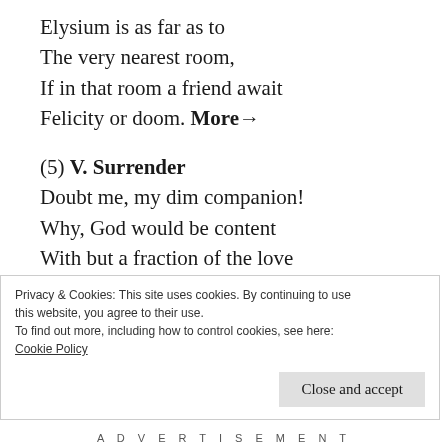Elysium is as far as to
The very nearest room,
If in that room a friend await
Felicity or doom. More→
(5) V. Surrender
Doubt me, my dim companion!
Why, God would be content
With but a fraction of the love
Poured thee without a stint.
The whole of me, forever,
What more the cremen can
Privacy & Cookies: This site uses cookies. By continuing to use this website, you agree to their use.
To find out more, including how to control cookies, see here:
Cookie Policy
Close and accept
A D V E R T I S E M E N T